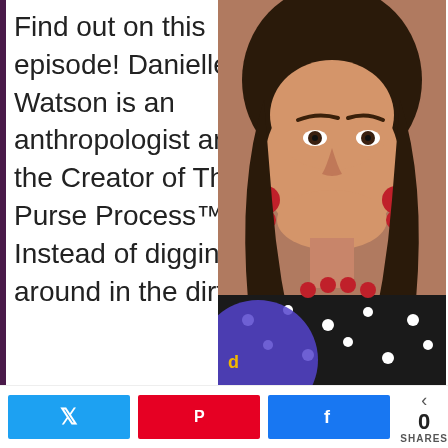Find out on this episode! Danielle Watson is an anthropologist and the Creator of The Purse Process™. Instead of digging around in the dirt for
[Figure (photo): Photo of Danielle Watson, a woman with dark hair, red lipstick, and red earrings wearing a black and white polka dot top, smiling. Below the photo is a podcast player widget showing 'Episode4 : Your Purs' with a play button, progress bar, and libsyn branding.]
0 SHARES